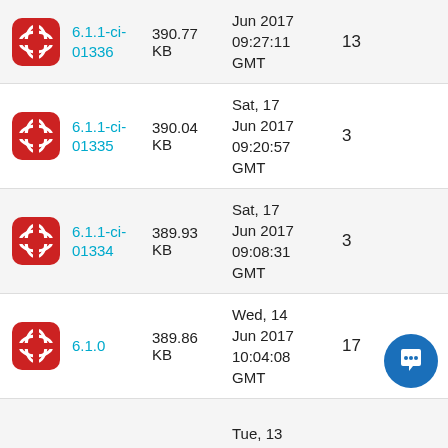| Icon | Version | Size | Date | Count |
| --- | --- | --- | --- | --- |
| [icon] | 6.1.1-ci-01336 | 390.77 KB | Sat, 17 Jun 2017 09:27:11 GMT | 13 |
| [icon] | 6.1.1-ci-01335 | 390.04 KB | Sat, 17 Jun 2017 09:20:57 GMT | 3 |
| [icon] | 6.1.1-ci-01334 | 389.93 KB | Sat, 17 Jun 2017 09:08:31 GMT | 3 |
| [icon] | 6.1.0 | 389.86 KB | Wed, 14 Jun 2017 10:04:08 GMT | 17 |
| [icon] |  |  | Tue, 13 |  |